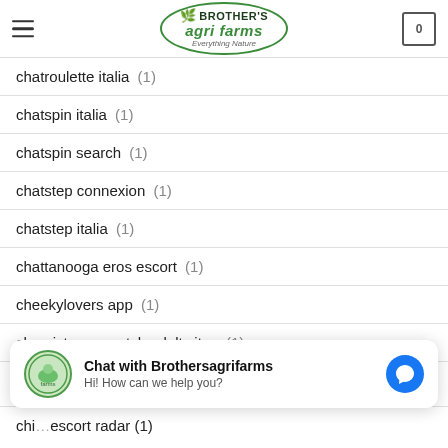BROTHER'S agri farms - Everything Nature
chatroulette italia (1)
chatspin italia (1)
chatspin search (1)
chatstep connexion (1)
chatstep italia (1)
chattanooga eros escort (1)
cheekylovers app (1)
chemistry-vs-match adult sites (1)
chi escort radar (1)